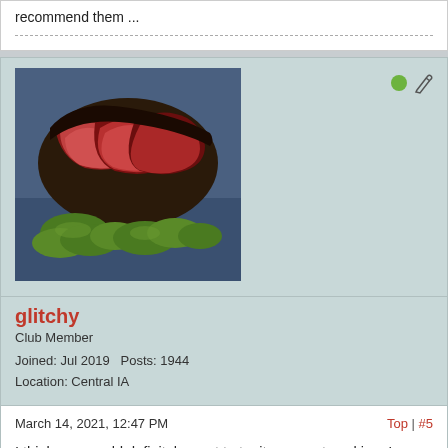recommend them ...
[Figure (photo): Food photo showing sliced grilled or smoked meat with green vegetables on a plate, used as user avatar for 'glitchy']
glitchy
Club Member
Joined: Jul 2019   Posts: 1944
Location: Central IA
March 14, 2021, 12:47 PM
Top | #5
I think you would definitely want to try it once not cooking, I would fear that just in the chip tray, they will fully ignite and burn off rapidly instead of smoldering very long. I've never tried it, so just a guess of what might happen versus when you pack them into the tube for cold smoking.